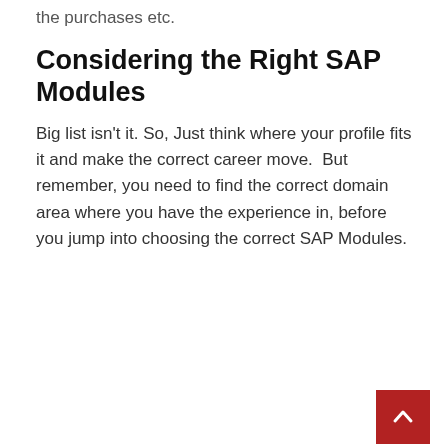the purchases etc.
Considering the Right SAP Modules
Big list isn't it. So, Just think where your profile fits it and make the correct career move.  But remember, you need to find the correct domain area where you have the experience in, before you jump into choosing the correct SAP Modules.